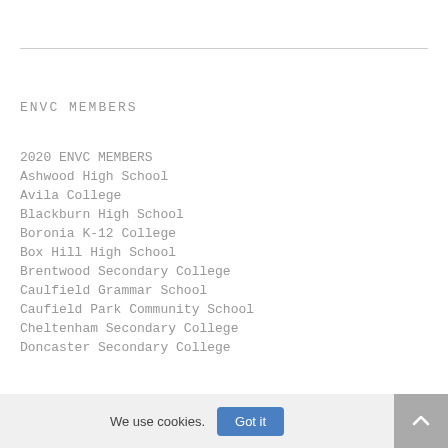ENVC MEMBERS
2020 ENVC MEMBERS
Ashwood High School
Avila College
Blackburn High School
Boronia K-12 College
Box Hill High School
Brentwood Secondary College
Caulfield Grammar School
Caufield Park Community School
Cheltenham Secondary College
Doncaster Secondary College
We use cookies.
Got it